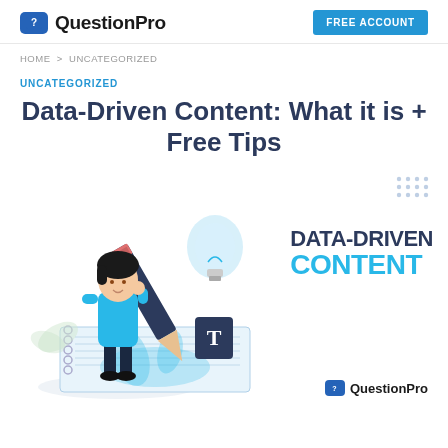QuestionPro | FREE ACCOUNT
HOME > UNCATEGORIZED
UNCATEGORIZED
Data-Driven Content: What it is + Free Tips
[Figure (illustration): Illustration of a woman holding a large pencil, writing in a notebook with a lightbulb, water splash, and text icon. Text overlay reads DATA-DRIVEN CONTENT. QuestionPro logo at bottom right.]